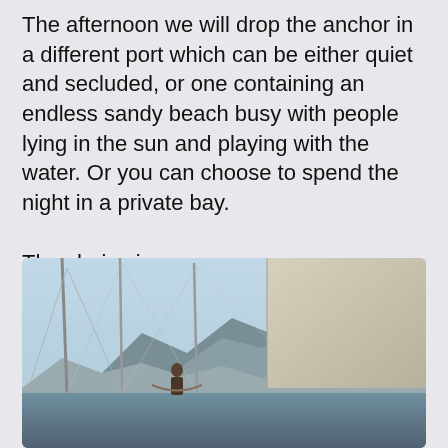The afternoon we will drop the anchor in a different port which can be either quiet and secluded, or one containing an endless sandy beach busy with people lying in the sun and playing with the water. Or you can choose to spend the night in a private bay.

The choice is yours.
[Figure (photo): Photo taken from the deck of a sailboat showing masts and rigging in the foreground, a person (possibly in a hammock) mid-frame, a large sail or canvas cover on the right side, and a mountainous coastline in the background under a clear blue-grey sky.]